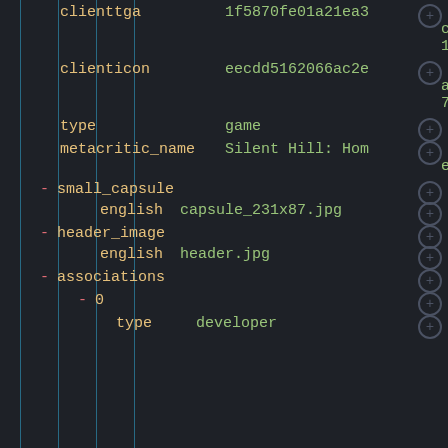clienttga    1f5870fe01a21ea3c2966c4ae11f77441d724db7
clienticon   eecdd5162066ac2ea10ba9fc71f265f37681f8e6
type         game
metacritic_name   Silent Hill: Homecoming
- small_capsule
english  capsule_231x87.jpg
- header_image
english  header.jpg
- associations
- 0
type  developer